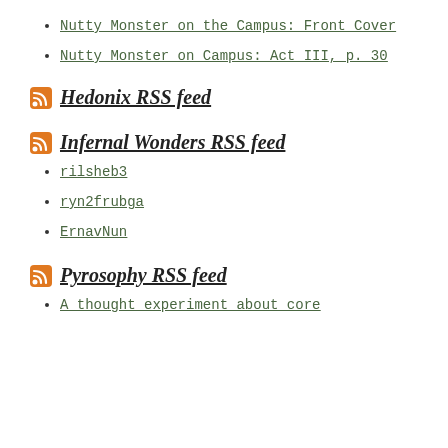Nutty Monster on the Campus: Front Cover
Nutty Monster on Campus: Act III, p. 30
Hedonix RSS feed
Infernal Wonders RSS feed
rilsheb3
ryn2frubga
ErnavNun
Pyrosophy RSS feed
A thought experiment about core